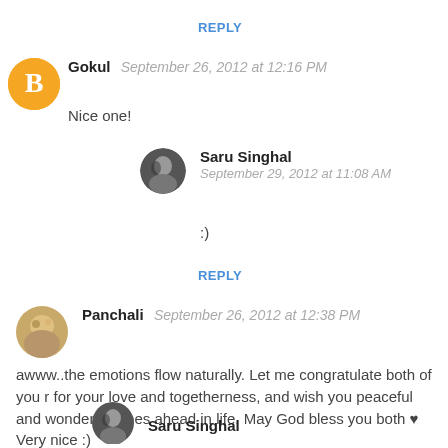REPLY
Gokul  September 26, 2012 at 12:16 PM
Nice one!
Saru Singhal
September 29, 2012 at 11:08 AM
:)
REPLY
Panchali  September 26, 2012 at 12:38 PM
awww..the emotions flow naturally. Let me congratulate both of you r for your love and togetherness, and wish you peaceful and wonderful times ahead in life. May God bless you both ♥
Very nice :)
Saru Singhal